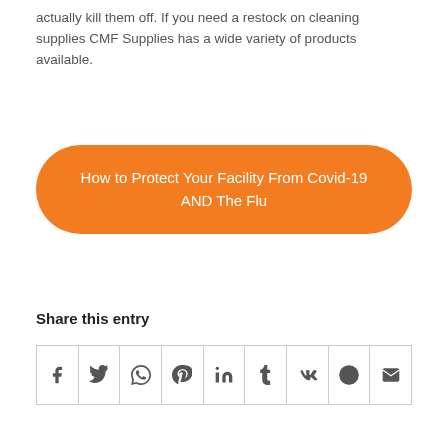actually kill them off. If you need a restock on cleaning supplies CMF Supplies has a wide variety of products available.
[Figure (other): Orange rounded rectangle button with text: How to Protect Your Facility From Covid-19 AND The Flu]
Share this entry
[Figure (other): Row of 9 social share icons: Facebook, Twitter, WhatsApp, Pinterest, LinkedIn, Tumblr, VK, Reddit, Email]